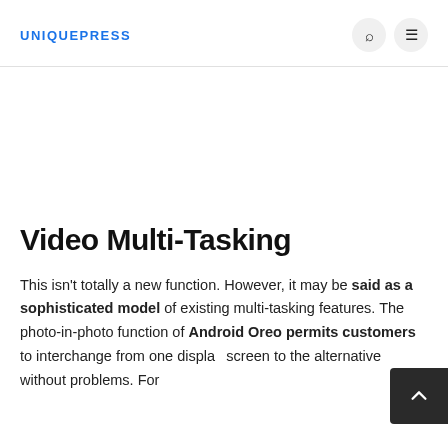UNIQUEPRESS
Video Multi-Tasking
This isn't totally a new function. However, it may be said as a sophisticated model of existing multi-tasking features. The photo-in-photo function of Android Oreo permits customers to interchange from one display screen to the alternative without problems. For